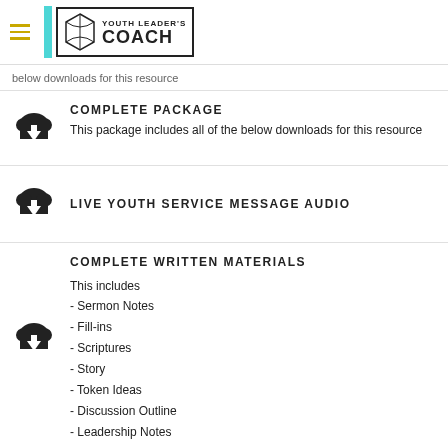Youth Leader's Coach
below downloads for this resource
COMPLETE PACKAGE
This package includes all of the below downloads for this resource
LIVE YOUTH SERVICE MESSAGE AUDIO
COMPLETE WRITTEN MATERIALS
This includes
- Sermon Notes
- Fill-ins
- Scriptures
- Story
- Token Ideas
- Discussion Outline
- Leadership Notes